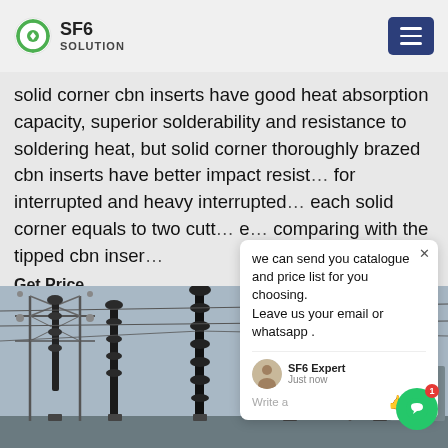SF6 SOLUTION
solid corner cbn inserts have good heat absorption capacity, superior solderability and resistance to soldering heat, but solid corner thoroughly brazed cbn inserts have better impact resistance for interrupted and heavy interrupted, each solid corner equals to two cutting edges comparing with the tipped cbn inserts
Get Price
[Figure (screenshot): Chat widget popup showing message: 'we can send you catalogue and price list for you choosing. Leave us your email or whatsapp .' with SF6 Expert avatar, 'just now' timestamp, and Write a message input area with like and attachment icons]
[Figure (photo): Photograph of an electrical substation with tall dark insulators/circuit breakers, overhead power line structures, and metal framework against a grey sky]